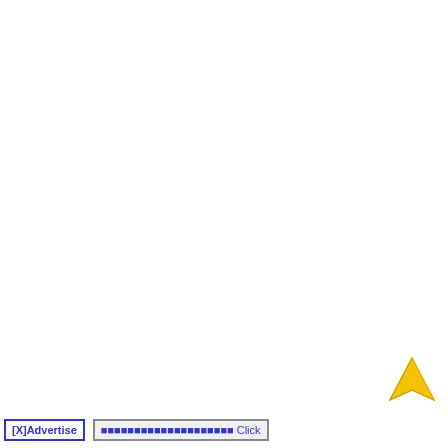[Figure (illustration): Yellow/gold triangular arrow/send icon pointing upward, located near bottom-right of page]
[X]Advertise   ???????????????????????????? Click